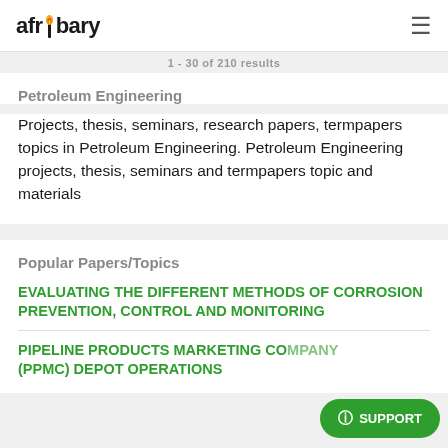afribary
1 - 30 of 210 results
Petroleum Engineering
Projects, thesis, seminars, research papers, termpapers topics in Petroleum Engineering. Petroleum Engineering projects, thesis, seminars and termpapers topic and materials
Popular Papers/Topics
EVALUATING THE DIFFERENT METHODS OF CORROSION PREVENTION, CONTROL AND MONITORING
PIPELINE PRODUCTS MARKETING COMPANY (PPMC) DEPOT OPERATIONS